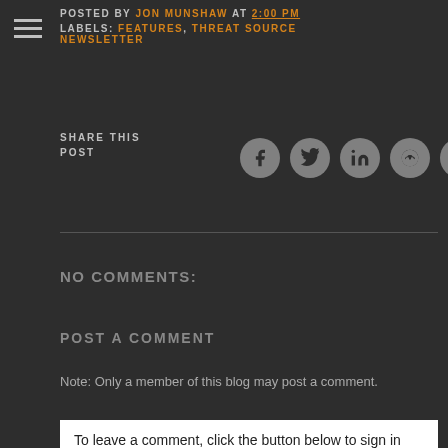POSTED BY JON MUNSHAW AT 2:00 PM
LABELS: FEATURES, THREAT SOURCE NEWSLETTER
SHARE THIS POST
[Figure (infographic): Row of social share icons: Facebook, Twitter, LinkedIn, Reddit, Email]
NO COMMENTS:
POST A COMMENT
Note: Only a member of this blog may post a comment.
To leave a comment, click the button below to sign in with Google.